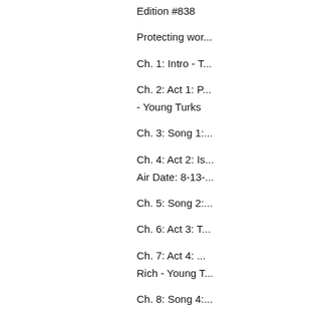Edition #838
Protecting wor...
Ch. 1: Intro - T...
Ch. 2: Act 1: P... - Young Turks
Ch. 3: Song 1:...
Ch. 4: Act 2: Is... Air Date: 8-13-...
Ch. 5: Song 2:...
Ch. 6: Act 3: T...
Ch. 7: Act 4: ... Rich - Young T...
Ch. 8: Song 4:...
Ch. 9: Act 5: A... Victim to Birth...
Ch. 10: Song 5...